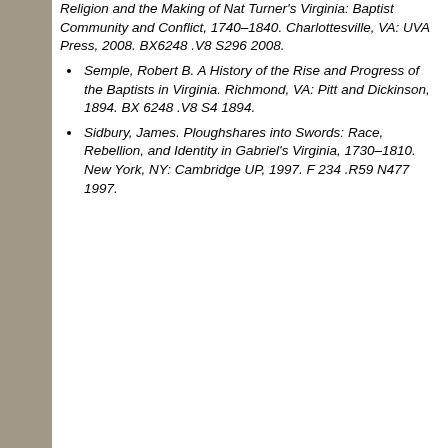Religion and the Making of Nat Turner's Virginia: Baptist Community and Conflict, 1740–1840. Charlottesville, VA: UVA Press, 2008. BX6248 .V8 S296 2008.
Semple, Robert B. A History of the Rise and Progress of the Baptists in Virginia. Richmond, VA: Pitt and Dickinson, 1894. BX 6248 .V8 S4 1894.
Sidbury, James. Ploughshares into Swords: Race, Rebellion, and Identity in Gabriel's Virginia, 1730–1810. New York, NY: Cambridge UP, 1997. F 234 .R59 N477 1997.